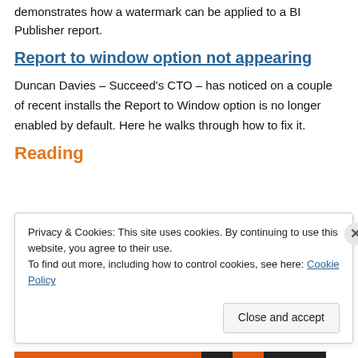demonstrates how a watermark can be applied to a BI Publisher report.
Report to window option not appearing
Duncan Davies – Succeed's CTO – has noticed on a couple of recent installs the Report to Window option is no longer enabled by default. Here he walks through how to fix it.
Reading
Privacy & Cookies: This site uses cookies. By continuing to use this website, you agree to their use.
To find out more, including how to control cookies, see here: Cookie Policy
Close and accept